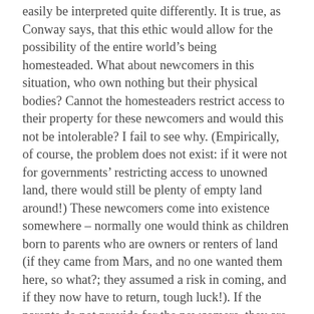easily be interpreted quite differently. It is true, as Conway says, that this ethic would allow for the possibility of the entire world's being homesteaded. What about newcomers in this situation, who own nothing but their physical bodies? Cannot the homesteaders restrict access to their property for these newcomers and would this not be intolerable? I fail to see why. (Empirically, of course, the problem does not exist: if it were not for governments' restricting access to unowned land, there would still be plenty of empty land around!) These newcomers come into existence somewhere – normally one would think as children born to parents who are owners or renters of land (if they came from Mars, and no one wanted them here, so what?; they assumed a risk in coming, and if they now have to return, tough luck!). If the parents do not provide for the newcomers, they are free to search the world over for employers, sellers, or charitable contributors — and a society ruled by the homesteading ethic would be, as Conway admits, the most prosperous one possible! If they still could